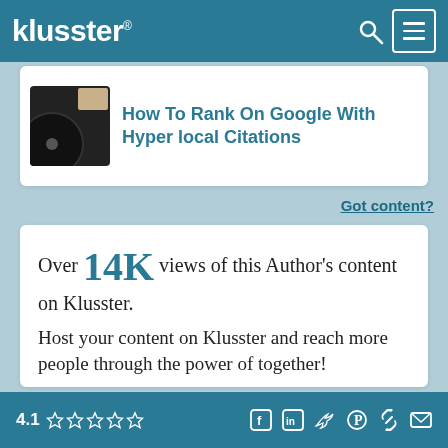klusster®
How To Rank On Google With Hyper local Citations
Got content?
Over 14K views of this Author's content on Klusster.
Host your content on Klusster and reach more people through the power of together!
4.1 ☆☆☆☆☆